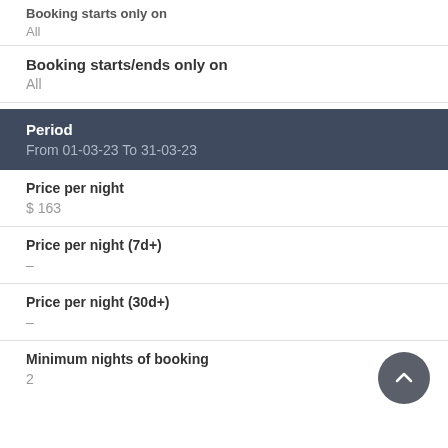Booking starts only on
All
Booking starts/ends only on
All
Period
From 01-03-23 To 31-03-23
Price per night
$ 163
Price per night (7d+)
–
Price per night (30d+)
–
Minimum nights of booking
2